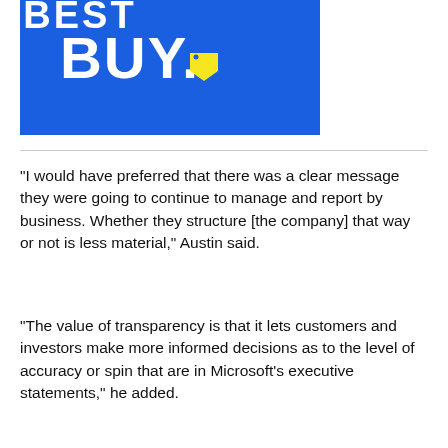[Figure (logo): Best Buy logo — white bold text 'BEST BUY.' with a yellow price tag icon on a bright blue background]
“I would have preferred that there was a clear message they were going to continue to manage and report by business. Whether they structure [the company] that way or not is less material,” Austin said.
“The value of transparency is that it lets customers and investors make more informed decisions as to the level of accuracy or spin that are in Microsoft’s executive statements,” he added.